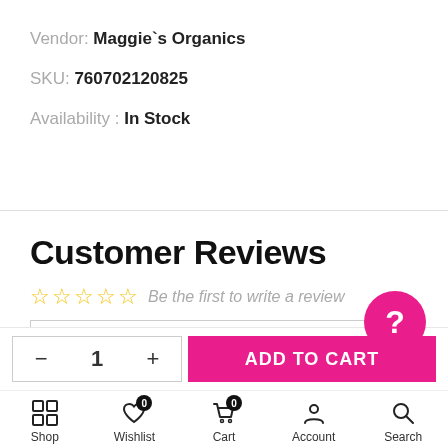Vendor: Maggie`s Organics
SKU: 760702120825
Availability : In Stock
Customer Reviews
Be the first to write a review
Write a review
− 1 +
ADD TO CART
Shop  Wishlist  Cart  Account  Search